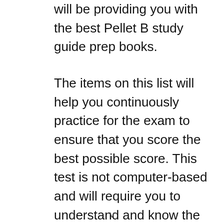will be providing you with the best Pellet B study guide prep books.
The items on this list will help you continuously practice for the exam to ensure that you score the best possible score. This test is not computer-based and will require you to understand and know the material. However, with our help, you will! Besides providing information on what some of the best Pellet B study guides are, we will also provide you with helpful tips on choosing
v